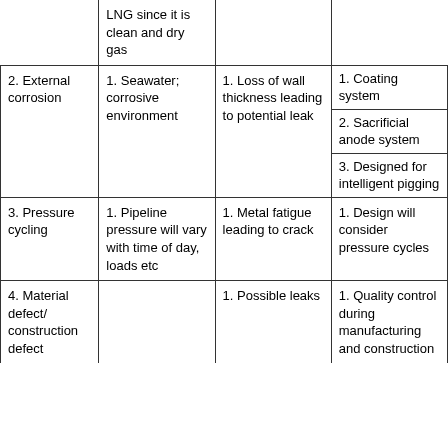| Hazard | Causes | Effects | Safeguards/Mitigations |
| --- | --- | --- | --- |
|  | LNG since it is clean and dry gas |  |  |
| 2. External corrosion | 1. Seawater; corrosive environment | 1. Loss of wall thickness leading to potential leak | 1. Coating system
2. Sacrificial anode system
3. Designed for intelligent pigging |
| 3. Pressure cycling | 1. Pipeline pressure will vary with time of day, loads etc | 1. Metal fatigue leading to crack | 1. Design will consider pressure cycles |
| 4. Material defect/ construction defect |  | 1. Possible leaks | 1. Quality control during manufacturing and construction |